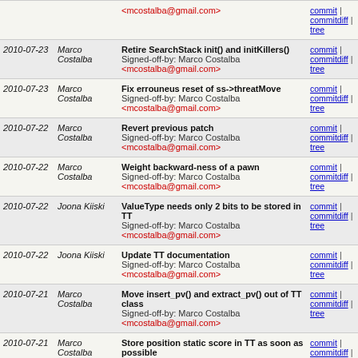| Date | Author | Message | Links |
| --- | --- | --- | --- |
|  |  | <mcostalba@gmail.com> | commit | commitdiff | tree |
| 2010-07-23 | Marco Costalba | Retire SearchStack init() and initKillers()
Signed-off-by: Marco Costalba <mcostalba@gmail.com> | commit | commitdiff | tree |
| 2010-07-23 | Marco Costalba | Fix errouneus reset of ss->threatMove
Signed-off-by: Marco Costalba <mcostalba@gmail.com> | commit | commitdiff | tree |
| 2010-07-22 | Marco Costalba | Revert previous patch
Signed-off-by: Marco Costalba <mcostalba@gmail.com> | commit | commitdiff | tree |
| 2010-07-22 | Marco Costalba | Weight backward-ness of a pawn
Signed-off-by: Marco Costalba <mcostalba@gmail.com> | commit | commitdiff | tree |
| 2010-07-22 | Joona Kiiski | ValueType needs only 2 bits to be stored in TT
Signed-off-by: Marco Costalba <mcostalba@gmail.com> | commit | commitdiff | tree |
| 2010-07-22 | Joona Kiiski | Update TT documentation
Signed-off-by: Marco Costalba <mcostalba@gmail.com> | commit | commitdiff | tree |
| 2010-07-21 | Marco Costalba | Move insert_pv() and extract_pv() out of TT class
Signed-off-by: Marco Costalba <mcostalba@gmail.com> | commit | commitdiff | tree |
| 2010-07-21 | Marco Costalba | Store position static score in TT as soon as possible | commit | commitdiff | tree |